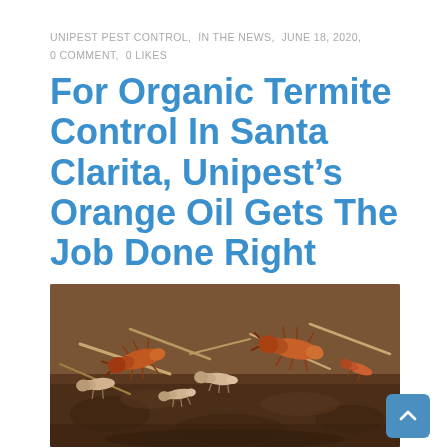UNIPEST PEST CONTROL,  IN THE NEWS,  JUNE 18, 2020,  0 COMMENT,  0 LIKES
For Organic Termite Control In Santa Clarita, Unipest’s Orange Oil Gets The Job Done Right
[Figure (photo): Close-up photograph of termites crawling on soil and wood debris, showing orange-brown soldier termites and pale worker termites]
Unipest’s Cardon Ellis explains how the pest control